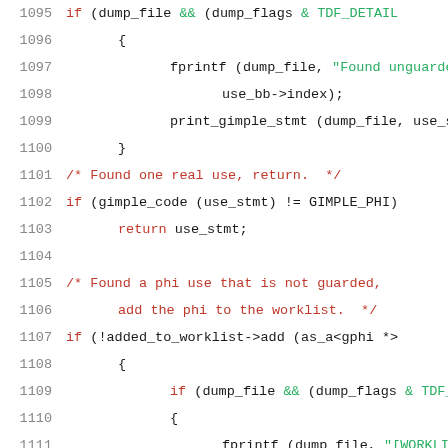Source code listing lines 1095-1116, C/C++ code with syntax highlighting